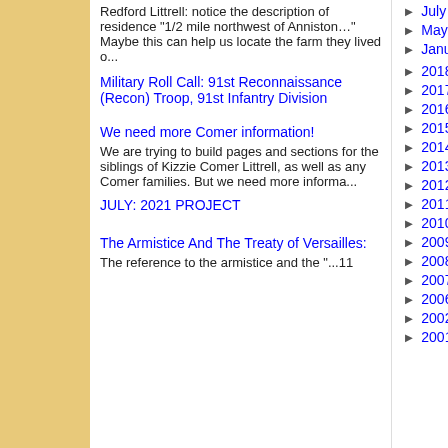Redford Littrell: notice the description of residence "1/2 mile northwest of Anniston…" Maybe this can help us locate the farm they lived o...
Military Roll Call: 91st Reconnaissance (Recon) Troop, 91st Infantry Division
We need more Comer information!
We are trying to build pages and sections for the siblings of Kizzie Comer Littrell, as well as any Comer families. But we need more informa...
JULY: 2021 PROJECT
The Armistice And The Treaty of Versailles:
The reference to the armistice and the "...11
July (2)
May (1)
January (2)
2018 (28)
2017 (60)
2016 (39)
2015 (63)
2014 (30)
2013 (57)
2012 (5)
2011 (11)
2010 (7)
2009 (19)
2008 (11)
2007 (1)
2006 (2)
2002 (2)
2001 (2)